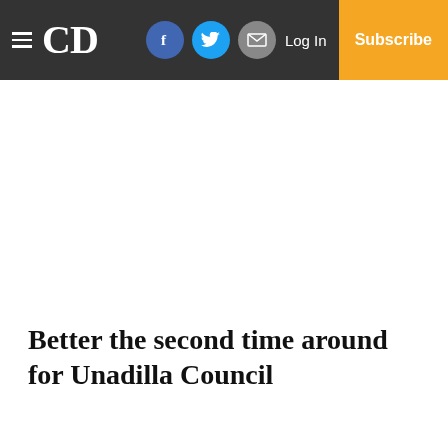CD | Facebook | Twitter | Mail | Log In | Subscribe
Better the second time around for Unadilla Council